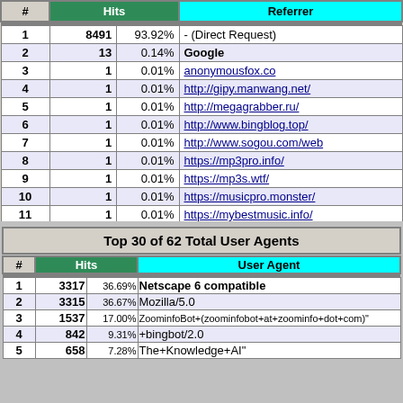| # | Hits |  | Referrer |
| --- | --- | --- | --- |
| 1 | 8491 | 93.92% | - (Direct Request) |
| 2 | 13 | 0.14% | Google |
| 3 | 1 | 0.01% | anonymousfox.co |
| 4 | 1 | 0.01% | http://gipy.manwang.net/ |
| 5 | 1 | 0.01% | http://megagrabber.ru/ |
| 6 | 1 | 0.01% | http://www.bingblog.top/ |
| 7 | 1 | 0.01% | http://www.sogou.com/web |
| 8 | 1 | 0.01% | https://mp3pro.info/ |
| 9 | 1 | 0.01% | https://mp3s.wtf/ |
| 10 | 1 | 0.01% | https://musicpro.monster/ |
| 11 | 1 | 0.01% | https://mybestmusic.info/ |
Top 30 of 62 Total User Agents
| # | Hits |  | User Agent |
| --- | --- | --- | --- |
| 1 | 3317 | 36.69% | Netscape 6 compatible |
| 2 | 3315 | 36.67% | Mozilla/5.0 |
| 3 | 1537 | 17.00% | ZoominfoBot+(zoominfobot+at+zoominfo+dot+com)" |
| 4 | 842 | 9.31% | +bingbot/2.0 |
| 5 | 658 | 7.28% | The+Knowledge+AI" |